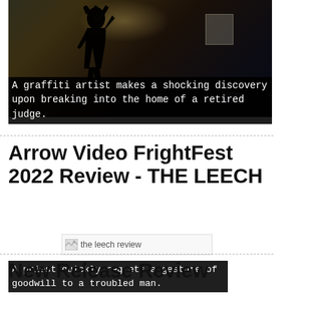[Figure (photo): Dark silhouetted figure of a graffiti artist in a dimly lit interior space, dramatic shadows, nighttime scene]
A graffiti artist makes a shocking discovery upon breaking into the home of a retired judge.
Arrow Video FrightFest 2022 Review - THE LEECH
[Figure (photo): The leech review - broken/missing image placeholder]
A priest quickly regrets a gesture of goodwill to a troubled man.
New Release Review